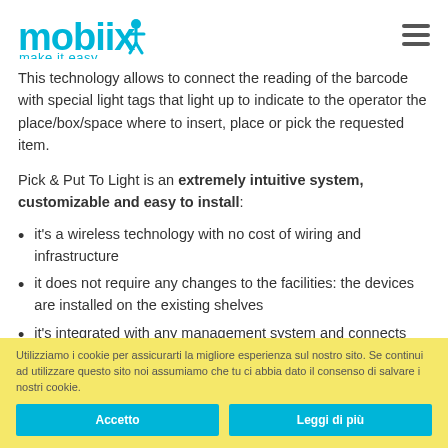mobiix make it easy
This technology allows to connect the reading of the barcode with special light tags that light up to indicate to the operator the place/box/space where to insert, place or pick the requested item.
Pick & Put To Light is an extremely intuitive system, customizable and easy to install:
it's a wireless technology with no cost of wiring and infrastructure
it does not require any changes to the facilities: the devices are installed on the existing shelves
it's integrated with any management system and connects directly to the warehouse management software
it is scalable over time as shelf/line lay-out needs change:
Utilizziamo i cookie per assicurarti la migliore esperienza sul nostro sito. Se continui ad utilizzare questo sito noi assumiamo che tu ci abbia dato il consenso di salvare i nostri cookie.